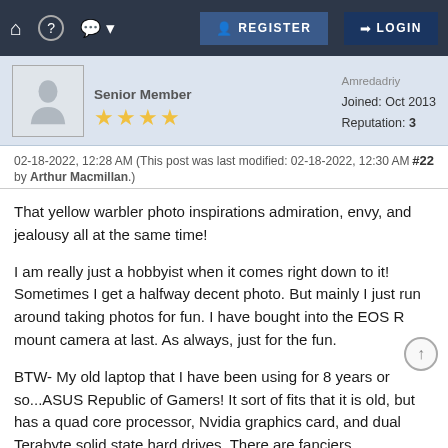REGISTER  LOGIN
Senior Member
★★★★
Joined: Oct 2013
Reputation: 3
02-18-2022, 12:28 AM (This post was last modified: 02-18-2022, 12:30 AM  #22
by Arthur Macmillan.)
That yellow warbler photo inspirations admiration, envy, and jealousy all at the same time!
I am really just a hobbyist when it comes right down to it! Sometimes I get a halfway decent photo. But mainly I just run around taking photos for fun. I have bought into the EOS R mount camera at last. As always, just for the fun.
BTW- My old laptop that I have been using for 8 years or so...ASUS Republic of Gamers! It sort of fits that it is old, but has a quad core processor, Nvidia graphics card, and dual Terabyte solid state hard drives. There are fanciers